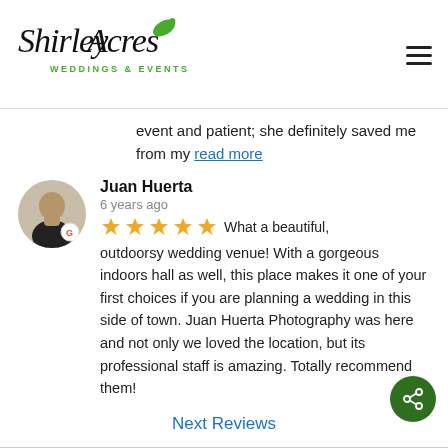[Figure (logo): Shirley Acres Weddings & Events logo with cursive script text and a leaf icon in green]
event and patient; she definitely saved me from my read more
Juan Huerta
6 years ago
★★★★★ What a beautiful, outdoorsy wedding venue! With a gorgeous indoors hall as well, this place makes it one of your first choices if you are planning a wedding in this side of town. Juan Huerta Photography was here and not only we loved the location, but its professional staff is amazing. Totally recommend them!
Next Reviews